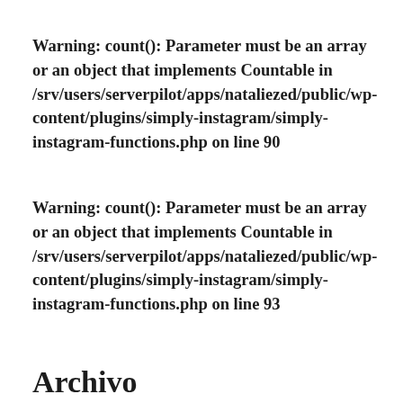Warning: count(): Parameter must be an array or an object that implements Countable in /srv/users/serverpilot/apps/nataliezed/public/wp-content/plugins/simply-instagram/simply-instagram-functions.php on line 90
Warning: count(): Parameter must be an array or an object that implements Countable in /srv/users/serverpilot/apps/nataliezed/public/wp-content/plugins/simply-instagram/simply-instagram-functions.php on line 93
Archivo